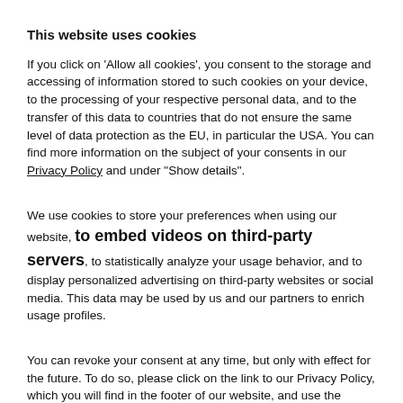This website uses cookies
If you click on 'Allow all cookies', you consent to the storage and accessing of information stored to such cookies on your device, to the processing of your respective personal data, and to the transfer of this data to countries that do not ensure the same level of data protection as the EU, in particular the USA. You can find more information on the subject of your consents in our Privacy Policy and under "Show details".
We use cookies to store your preferences when using our website, to embed videos on third-party servers, to statistically analyze your usage behavior, and to display personalized advertising on third-party websites or social media. This data may be used by us and our partners to enrich usage profiles.
You can revoke your consent at any time, but only with effect for the future. To do so, please click on the link to our Privacy Policy, which you will find in the footer of our website, and use the 'Change your consent' function there.